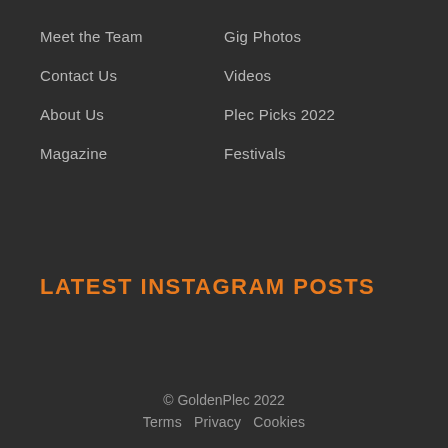Meet the Team
Contact Us
About Us
Magazine
Gig Photos
Videos
Plec Picks 2022
Festivals
LATEST INSTAGRAM POSTS
© GoldenPlec 2022   Terms   Privacy   Cookies